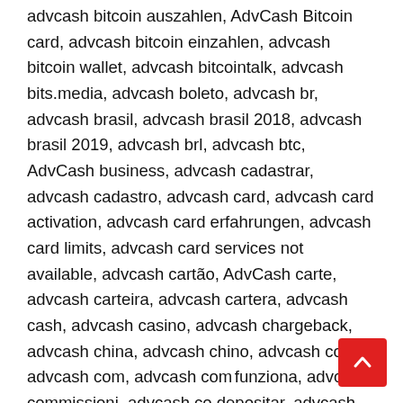advcash bitcoin auszahlen, AdvCash Bitcoin card, advcash bitcoin einzahlen, advcash bitcoin wallet, advcash bitcointalk, advcash bits.media, advcash boleto, advcash br, advcash brasil, advcash brasil 2018, advcash brasil 2019, advcash brl, advcash btc, AdvCash business, advcash cadastrar, advcash cadastro, advcash card, advcash card activation, advcash card erfahrungen, advcash card limits, advcash card services not available, advcash cartão, AdvCash carte, advcash carteira, advcash cartera, advcash cash, advcash casino, advcash chargeback, advcash china, advcash chino, advcash coinbr, advcash com, advcash come funziona, advcash commissioni, advcash co depositar, advcash como funciona, advcash